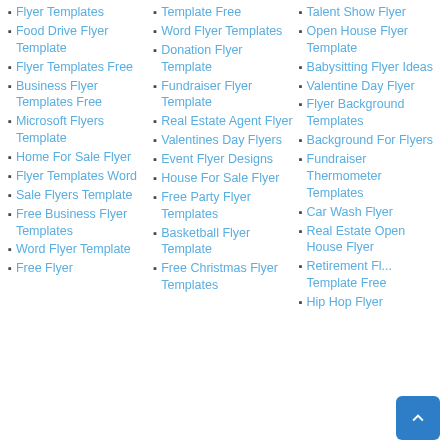Flyer Templates
Food Drive Flyer Template
Flyer Templates Free
Business Flyer Templates Free
Microsoft Flyers Template
Home For Sale Flyer
Flyer Templates Word
Sale Flyers Template
Free Business Flyer Templates
Word Flyer Template
Free Flyer
Template Free
Word Flyer Templates
Donation Flyer Template
Fundraiser Flyer Template
Real Estate Agent Flyer
Valentines Day Flyers
Event Flyer Designs
House For Sale Flyer
Free Party Flyer Templates
Basketball Flyer Template
Free Christmas Flyer Templates
Talent Show Flyer
Open House Flyer Template
Babysitting Flyer Ideas
Valentine Day Flyer
Flyer Background Templates
Background For Flyers
Fundraiser Thermometer Templates
Car Wash Flyer
Real Estate Open House Flyer
Retirement Flyer Template Free
Hip Hop Flyer